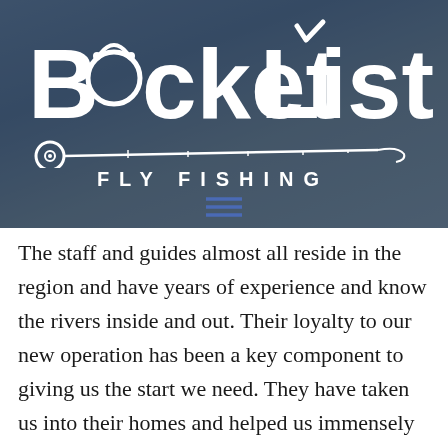[Figure (logo): Bucket List Fly Fishing logo — white text with fishing rod graphic on dark blue-grey background]
The staff and guides almost all reside in the region and have years of experience and know the rivers inside and out. Their loyalty to our new operation has been a key component to giving us the start we need. They have taken us into their homes and helped us immensely in the building of this fantastic new company. We have a quality staff dedicated to our business.